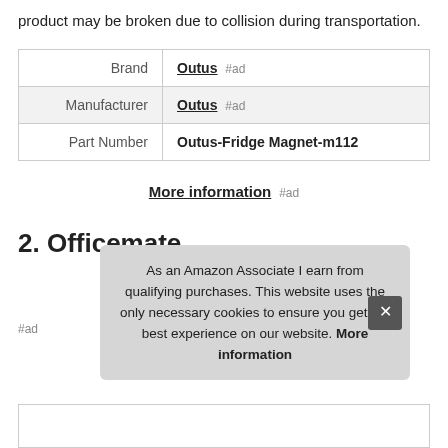product may be broken due to collision during transportation.
|  |  |
| --- | --- |
| Brand | Outus #ad |
| Manufacturer | Outus #ad |
| Part Number | Outus-Fridge Magnet-m112 |
More information #ad
2. Officemate
As an Amazon Associate I earn from qualifying purchases. This website uses the only necessary cookies to ensure you get the best experience on our website. More information